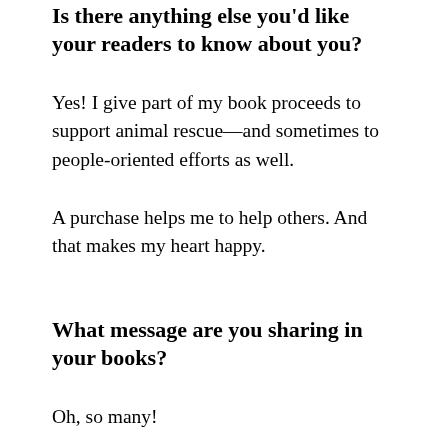Is there anything else you'd like your readers to know about you?
Yes! I give part of my book proceeds to support animal rescue—and sometimes to people-oriented efforts as well.
A purchase helps me to help others. And that makes my heart happy.
What message are you sharing in your books?
Oh, so many!
First and foremost, kindness to animals; the ...